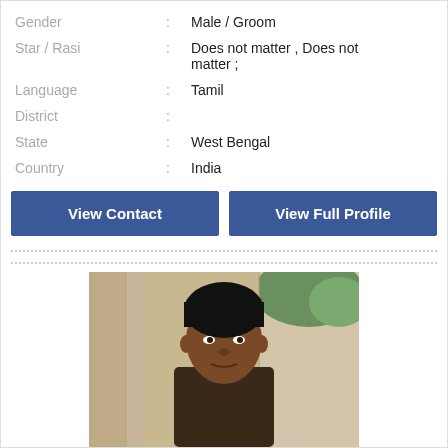| Gender | : | Male / Groom |
| Star / Rasi | : | Does not matter , Does not matter ; |
| Language | : | Tamil |
| District | : |  |
| State | : | West Bengal |
| Country | : | India |
View Contact
View Full Profile
[Figure (photo): Portrait photo of a young man outdoors, dark hair, looking at camera]